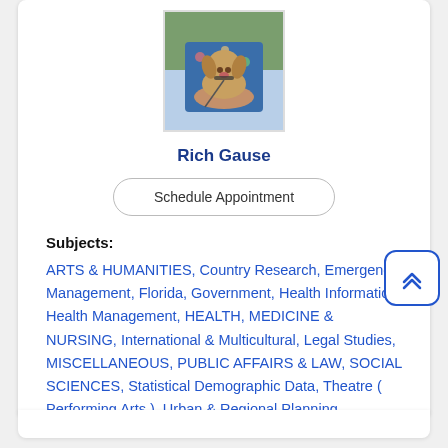[Figure (photo): Photo of Rich Gause holding a small tan/yellow dog, wearing a floral shirt, seated outdoors]
Rich Gause
Schedule Appointment
Subjects:
ARTS & HUMANITIES, Country Research, Emergency Management, Florida, Government, Health Informatics, Health Management, HEALTH, MEDICINE & NURSING, International & Multicultural, Legal Studies, MISCELLANEOUS, PUBLIC AFFAIRS & LAW, SOCIAL SCIENCES, Statistical Demographic Data, Theatre ( Performing Arts ), Urban & Regional Planning